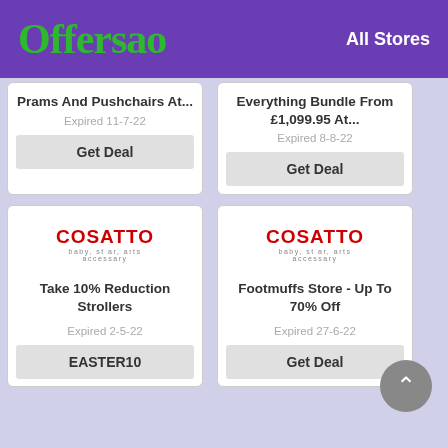[Figure (logo): Offersao logo in green serif font on purple background]
All Stores
Prams And Pushchairs At...
Expired 11-7-22
Get Deal
Everything Bundle From £1,099.95 At...
Expired 8-8-22
Get Deal
[Figure (logo): Cosatto logo - red bold text with tagline]
Take 10% Reduction Strollers
Expired 2-5-22
EASTER10
[Figure (logo): Cosatto logo - red bold text with tagline]
Footmuffs Store - Up To 70% Off
Expired 27-6-22
Get Deal